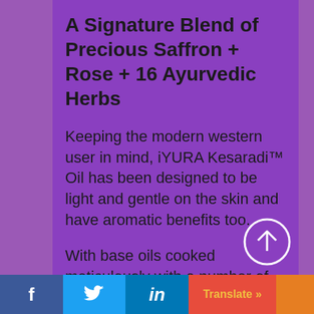A Signature Blend of Precious Saffron + Rose + 16 Ayurvedic Herbs
Keeping the modern western user in mind, iYURA Kesaradi™ Oil has been designed to be light and gentle on the skin and have aromatic benefits too.
With base oils cooked meticulously with a number of herbs, this is rightly called
f  [Twitter bird]  in  Translate »